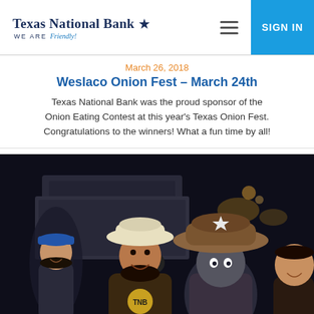Texas National Bank — WE ARE Friendly! | SIGN IN
March 26, 2018
Weslaco Onion Fest – March 24th
Texas National Bank was the proud sponsor of the Onion Eating Contest at this year's Texas Onion Fest. Congratulations to the winners! What a fun time by all!
[Figure (photo): Group photo at night at the Weslaco Onion Fest event. Three people and a mascot wearing a large cowboy hat with a star are posing together, smiling. The person in the center wears a brown TNB shirt and white cowboy hat. A woman in a blue cap is on the left and another woman is on the right. There is a vehicle in the background.]